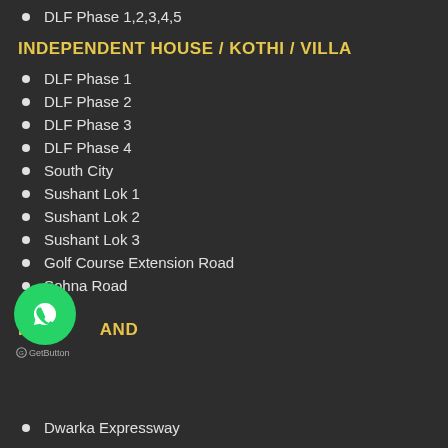DLF Phase 1,2,3,4,5
INDEPENDENT HOUSE / KOTHI / VILLA
DLF Phase 1
DLF Phase 2
DLF Phase 3
DLF Phase 4
South City
Sushant Lok 1
Sushant Lok 2
Sushant Lok 3
Golf Course Extension Road
Sohna Road
PLOT AND
[Figure (logo): WhatsApp GetButton widget with green circle icon]
Dwarka Expressway